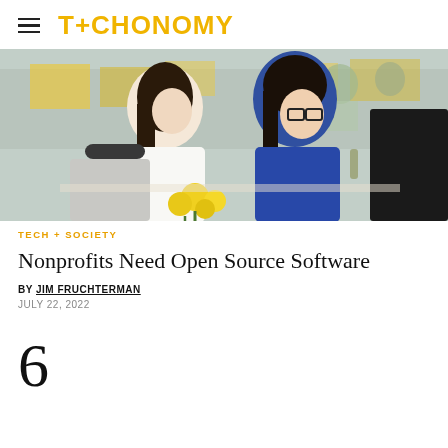TECHONOMY
[Figure (photo): Two young women looking at a computer monitor in a bright open office with yellow accents, one with long dark hair leaning in, the other wearing glasses and a blue top, with yellow flowers in the foreground]
TECH + SOCIETY
Nonprofits Need Open Source Software
BY JIM FRUCHTERMAN
JULY 22, 2022
6